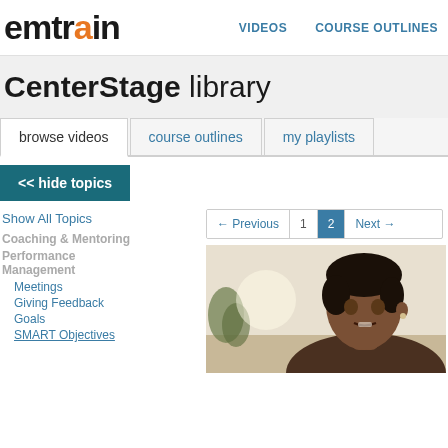emtrain | VIDEOS | COURSE OUTLINES
CenterStage library
browse videos
course outlines
my playlists
<< hide topics
Show All Topics
Coaching & Mentoring
Performance Management
Meetings
Giving Feedback
Goals
SMART Objectives
← Previous  1  2  Next →
[Figure (photo): Close-up photo of a woman's face, appears to be mid-conversation, with a plant visible in the background]